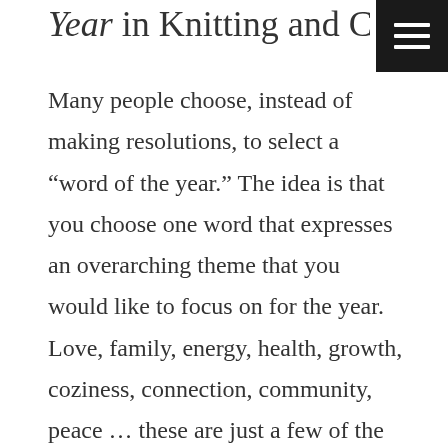Year in Knitting and Crochet
Many people choose, instead of making resolutions, to select a “word of the year.” The idea is that you choose one word that expresses an overarching theme that you would like to focus on for the year. Love, family, energy, health, growth, coziness, connection, community, peace … these are just a few of the big themes that people choose each year. Ideally, throughout the next twelve months, you keep coming back to that word of the year to help guide you in making decisions, moving